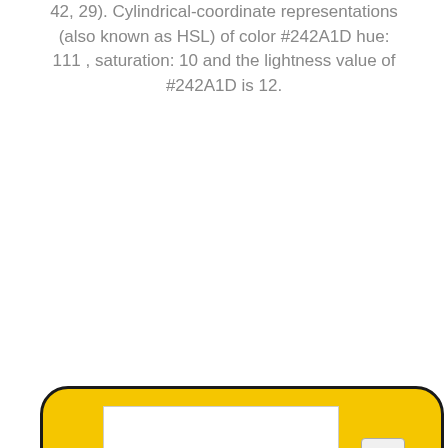42, 29). Cylindrical-coordinate representations (also known as HSL) of color #242A1D hue: 111 , saturation: 10 and the lightness value of #242A1D is 12.
[Figure (illustration): A rounded rectangle with yellow (#F5C600) background and dark border, containing a white rectangular area on the left and a small grey pill-shaped element on the right.]
[Figure (illustration): A dark olive/near-black rectangular color swatch (#242A1D) at the bottom of the page.]